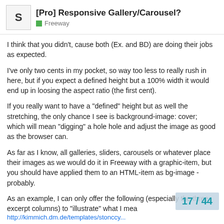[Pro] Responsive Gallery/Carousel? — Freeway
I think that you didn't, cause both (Ex. and BD) are doing their jobs as expected.
I've only two cents in my pocket, so way too less to really rush in here, but if you expect a defined height but a 100% width it would end up in loosing the aspect ratio (the first cent).
If you really want to have a "defined" height but as well the stretching, the only chance I see is background-image: cover; which will mean "digging" a hole hole and adjust the image as good as the browser can.
As far as I know, all galleries, sliders, carousels or whatever place their images as we would do it in Freeway with a graphic-item, but you should have applied them to an HTML-item as bg-image - probably.
As an example, I can only offer the following (especially the three excerpt columns) to "illustrate" what I mean
17 / 44
http://kimmich.dm.de/templates/stonccy...